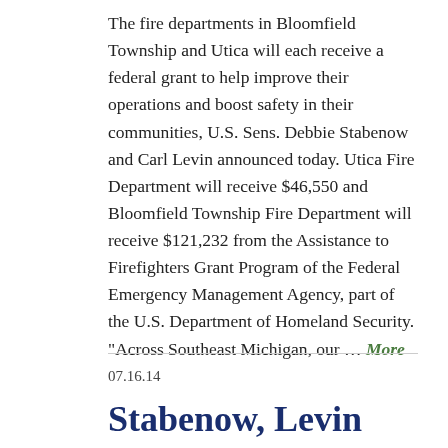The fire departments in Bloomfield Township and Utica will each receive a federal grant to help improve their operations and boost safety in their communities, U.S. Sens. Debbie Stabenow and Carl Levin announced today. Utica Fire Department will receive $46,550 and Bloomfield Township Fire Department will receive $121,232 from the Assistance to Firefighters Grant Program of the Federal Emergency Management Agency, part of the U.S. Department of Homeland Security. "Across Southeast Michigan, our ... More
07.16.14
Stabenow, Levin Announce Fire